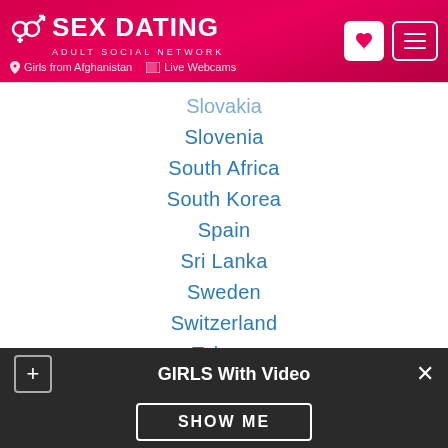SEX DATING ADULT SOCIAL NETWORK | Girls from Afghanistan | Live Webcams
Slovakia
Slovenia
South Africa
South Korea
Spain
Sri Lanka
Sweden
Switzerland
Taiwan
Thailand
Turkey
United Arab Emirates
Uruguay
GIRLS With Video — SHOW ME